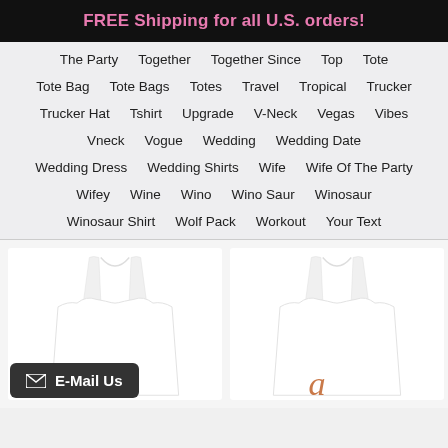FREE Shipping for all U.S. orders!
The Party   Together   Together Since   Top   Tote
Tote Bag   Tote Bags   Totes   Travel   Tropical   Trucker
Trucker Hat   Tshirt   Upgrade   V-Neck   Vegas   Vibes
Vneck   Vogue   Wedding   Wedding Date
Wedding Dress   Wedding Shirts   Wife   Wife Of The Party
Wifey   Wine   Wino   Wino Saur   Winosaur
Winosaur Shirt   Wolf Pack   Workout   Your Text
[Figure (photo): Two white racerback tank tops displayed side by side, each with script text partially visible at the bottom in orange/rust color.]
E-Mail Us